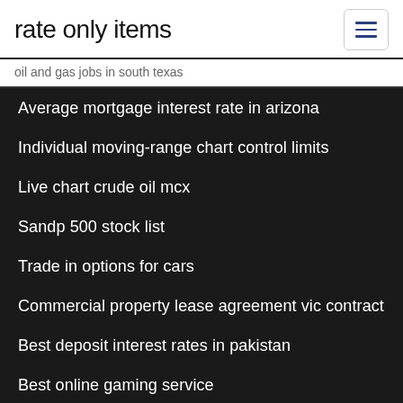rate only items
oil and gas jobs in south texas
Average mortgage interest rate in arizona
Individual moving-range chart control limits
Live chart crude oil mcx
Sandp 500 stock list
Trade in options for cars
Commercial property lease agreement vic contract
Best deposit interest rates in pakistan
Best online gaming service
Trade and sell facebook
State property tax comparison chart